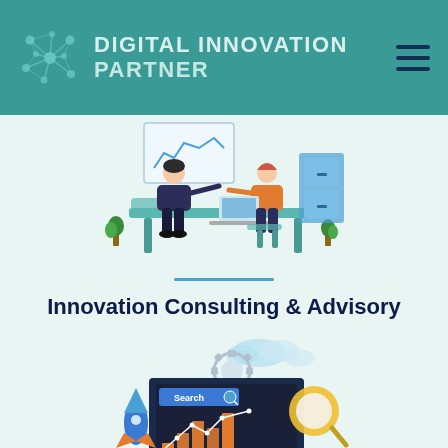Digital Innovation Partner
[Figure (illustration): Two people sitting at a desk having a meeting/consultation, with a whiteboard in the background. Business consulting illustration in flat design style.]
Innovation Consulting & Advisory
[Figure (illustration): Digital marketing illustration showing a laptop with bar charts and a line graph, a search bar, a rocket, clouds, a gear, and a magnifying glass. Colorful flat design style.]